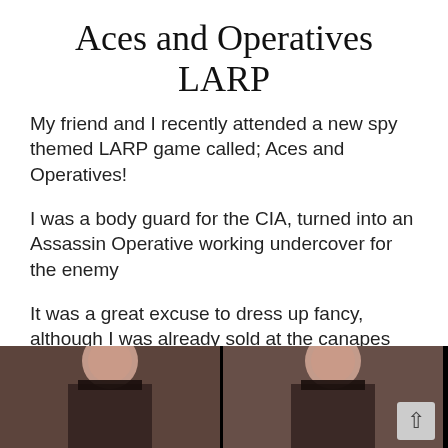Aces and Operatives LARP
My friend and I recently attended a new spy themed LARP game called; Aces and Operatives!
I was a body guard for the CIA, turned into an Assassin Operative working undercover for the enemy
It was a great excuse to dress up fancy, although I was already sold at the canapes and Poker!
[Figure (photo): Two photos side by side of a woman dressed in spy/fancy attire, partially visible at bottom of page]